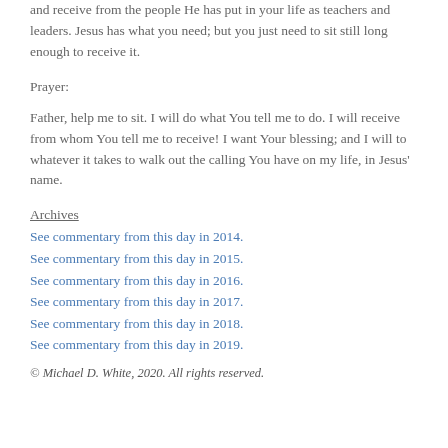and receive from the people He has put in your life as teachers and leaders. Jesus has what you need; but you just need to sit still long enough to receive it.
Prayer:
Father, help me to sit. I will do what You tell me to do. I will receive from whom You tell me to receive! I want Your blessing; and I will to whatever it takes to walk out the calling You have on my life, in Jesus' name.
Archives
See commentary from this day in 2014.
See commentary from this day in 2015.
See commentary from this day in 2016.
See commentary from this day in 2017.
See commentary from this day in 2018.
See commentary from this day in 2019.
© Michael D. White, 2020. All rights reserved.